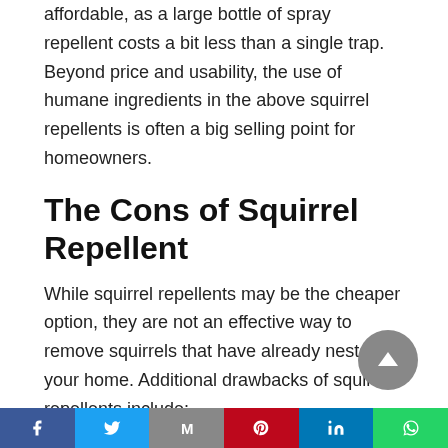affordable, as a large bottle of spray repellent costs a bit less than a single trap. Beyond price and usability, the use of humane ingredients in the above squirrel repellents is often a big selling point for homeowners.
The Cons of Squirrel Repellent
While squirrel repellents may be the cheaper option, they are not an effective way to remove squirrels that have already nested in your home. Additional drawbacks of squirrel repellents include:
Squirrel repellents must be strategically placed.
Unless you understand how to search for and
Facebook  Twitter  Gmail  Pinterest  LinkedIn  WhatsApp